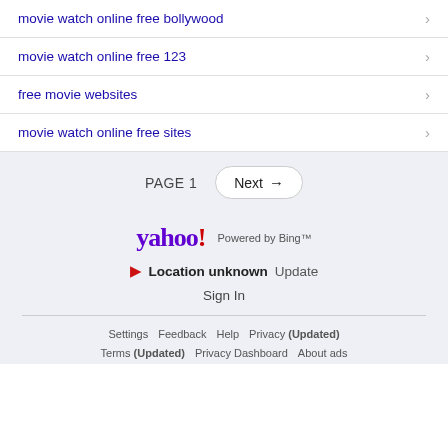movie watch online free bollywood
movie watch online free 123
free movie websites
movie watch online free sites
PAGE 1   Next →
[Figure (logo): Yahoo! logo with 'Powered by Bing™' text]
▶ Location unknown  Update
Sign In
Settings   Feedback   Help   Privacy (Updated)   Terms (Updated)   Privacy Dashboard   About ads